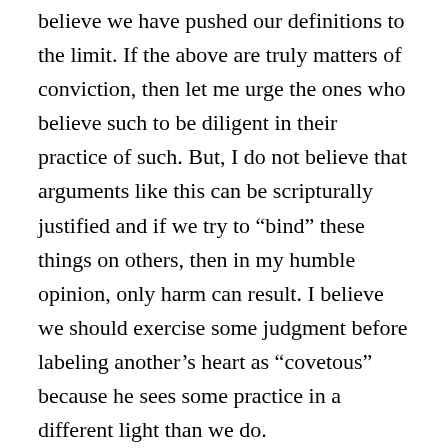believe we have pushed our definitions to the limit. If the above are truly matters of conviction, then let me urge the ones who believe such to be diligent in their practice of such. But, I do not believe that arguments like this can be scripturally justified and if we try to “bind” these things on others, then in my humble opinion, only harm can result. I believe we should exercise some judgment before labeling another’s heart as “covetous” because he sees some practice in a different light than we do.